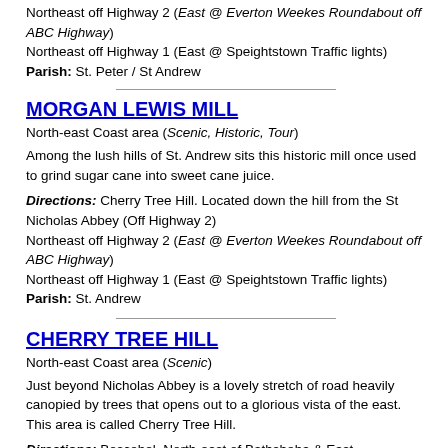Northeast off Highway 2 (East @ Everton Weekes Roundabout off ABC Highway)
Northeast off Highway 1 (East @ Speightstown Traffic lights)
Parish: St. Peter / St Andrew
MORGAN LEWIS MILL
North-east Coast area (Scenic, Historic, Tour)
Among the lush hills of St. Andrew sits this historic mill once used to grind sugar cane into sweet cane juice.
Directions: Cherry Tree Hill. Located down the hill from the St Nicholas Abbey (Off Highway 2) Northeast off Highway 2 (East @ Everton Weekes Roundabout off ABC Highway) Northeast off Highway 1 (East @ Speightstown Traffic lights)
Parish: St. Andrew
CHERRY TREE HILL
North-east Coast area (Scenic)
Just beyond Nicholas Abbey is a lovely stretch of road heavily canopied by trees that opens out to a glorious vista of the east. This area is called Cherry Tree Hill.
Directions: Boscobel. North-east of Bathsheba & East